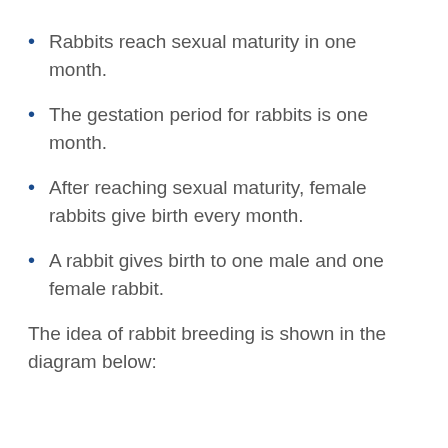Rabbits reach sexual maturity in one month.
The gestation period for rabbits is one month.
After reaching sexual maturity, female rabbits give birth every month.
A rabbit gives birth to one male and one female rabbit.
The idea of rabbit breeding is shown in the diagram below: